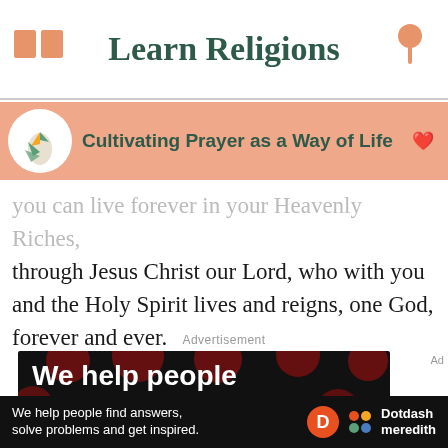Learn Religions
Cultivating Prayer as a Way of Life
you can live forever in your Heavenly Riches, through Jesus Christ our Lord, who with you and the Holy Spirit lives and reigns, one God, forever and ever.
Advertisement
[Figure (illustration): Advertisement banner with text: We help people find answers, solve problems and get inspired. Black background with dark red polka dots.]
We help people find answers, solve problems and get inspired.
[Figure (logo): Dotdash Meredith logo with circular D icon in orange and colorful dots icon]